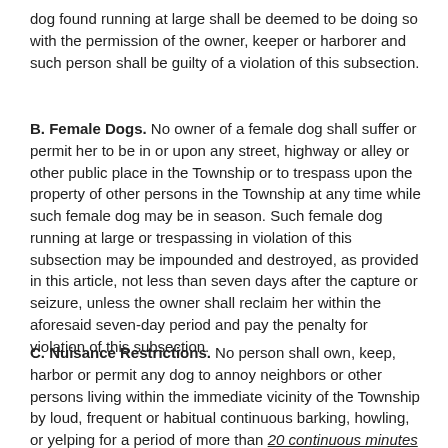dog found running at large shall be deemed to be doing so with the permission of the owner, keeper or harborer and such person shall be guilty of a violation of this subsection.
B. Female Dogs. No owner of a female dog shall suffer or permit her to be in or upon any street, highway or alley or other public place in the Township or to trespass upon the property of other persons in the Township at any time while such female dog may be in season. Such female dog running at large or trespassing in violation of this subsection may be impounded and destroyed, as provided in this article, not less than seven days after the capture or seizure, unless the owner shall reclaim her within the aforesaid seven-day period and pay the penalty for violation of this subsection.
C. Nuisance Restrictions. No person shall own, keep, harbor or permit any dog to annoy neighbors or other persons living within the immediate vicinity of the Township by loud, frequent or habitual continuous barking, howling, or yelping for a period of more than 20 continuous minutes between the hours of 7:00am and